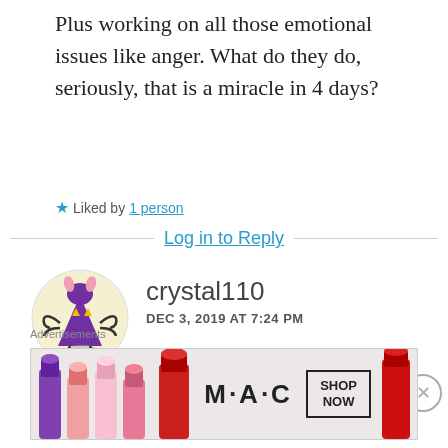Plus working on all those emotional issues like anger. What do they do, seriously, that is a miracle in 4 days?
★ Liked by 1 person
Log in to Reply
[Figure (illustration): Avatar image of a cartoon purple multi-armed figure on a pale yellow circular background]
crystal110
DEC 3, 2019 AT 7:24 PM
I'm confused by Elle's
Advertisements
[Figure (photo): MAC Cosmetics advertisement banner showing colorful lipsticks with SHOP NOW button]